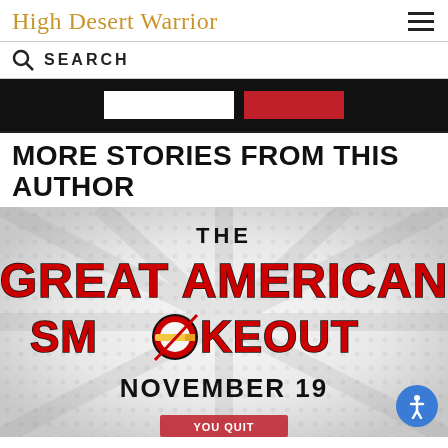High Desert Warrior
SEARCH
[Figure (screenshot): Advertisement banner with white and red elements on black background]
MORE STORIES FROM THIS AUTHOR
[Figure (illustration): The Great American Smokeout promotional graphic with red bold text on light starburst background, November 19]